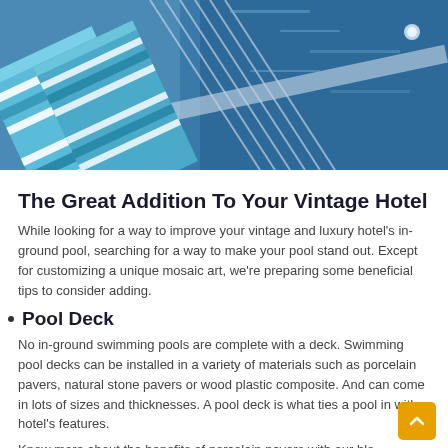[Figure (photo): Aerial view of a swimming pool with blue water and striped beach towels/chairs with teal, white and blue pattern along the pool edge]
The Great Addition To Your Vintage Hotel
While looking for a way to improve your vintage and luxury hotel's in-ground pool, searching for a way to make your pool stand out. Except for customizing a unique mosaic art, we're preparing some beneficial tips to consider adding.
Pool Deck
No in-ground swimming pools are complete with a deck. Swimming pool decks can be installed in a variety of materials such as porcelain pavers, natural stone pavers or wood plastic composite. And can come in lots of sizes and thicknesses. A pool deck is what ties a pool in with a hotel's features.
Know more about the benefits of porcelain pavers with our blo...